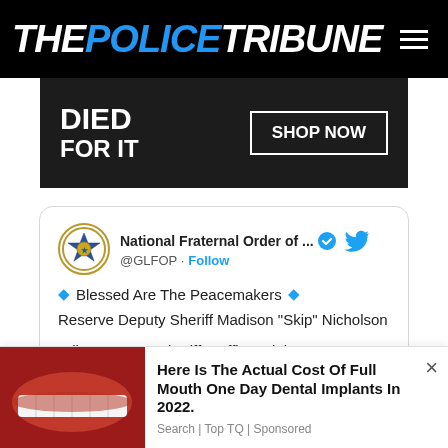THE POLICE TRIBUNE
[Figure (photo): Advertisement banner with text 'DIED FOR IT' and 'SHOP NOW' button on dark background]
[Figure (screenshot): Tweet from National Fraternal Order of Police (@GLFOP) with text: '♦ Blessed Are The Peacemakers ♦

Reserve Deputy Sheriff Madison "Skip" Nicholson

Wilcox County Sheriff's Office, Alabama']
[Figure (photo): Advertisement for dental implants: 'Here Is The Actual Cost Of Full Mouth One Day Dental Implants In 2022.' by Search | Top TQ | Sponsored, showing teeth image]